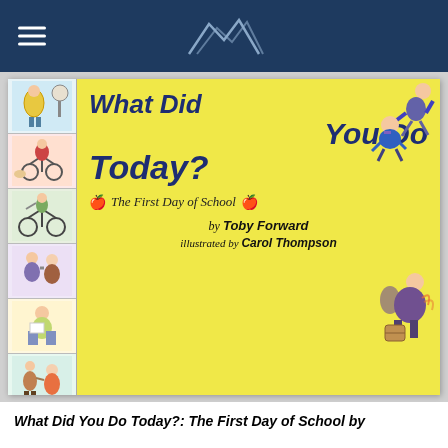[Navigation header with hamburger menu and mountain logo]
[Figure (photo): Book cover of 'What Did You Do Today?: The First Day of School' by Toby Forward, illustrated by Carol Thompson. Yellow cover with children cartoon illustrations and text. Left side has a strip of comic-style panel illustrations.]
What Did You Do Today?: The First Day of School by